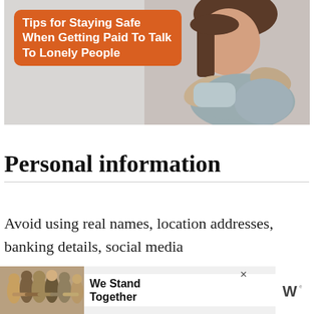[Figure (photo): A woman with brown hair hugging her knees, looking downward, with a grey background. Orange rounded-rectangle overlay badge with white bold text reading: Tips for Staying Safe When Getting Paid To Talk To Lonely People]
Personal information
Avoid using real names, location addresses, banking details, social media accounts, and phone numbers
[Figure (photo): Advertisement banner: group photo of people with arms around each other (backs to camera), text 'We Stand Together', logo on right, close button top right]